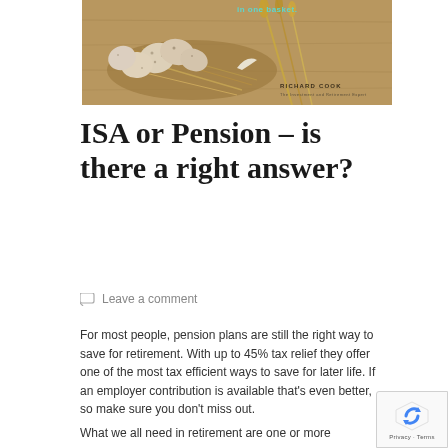[Figure (photo): Photo of speckled eggs in a straw nest with wheat stalks on a wooden surface. Text overlay reads 'In one basket.' with 'RICHARD COOK' branding in lower right.]
ISA or Pension – is there a right answer?
Leave a comment
For most people, pension plans are still the right way to save for retirement. With up to 45% tax relief they offer one of the most tax efficient ways to save for later life. If an employer contribution is available that's even better, so make sure you don't miss out.
What we all need in retirement are one or more